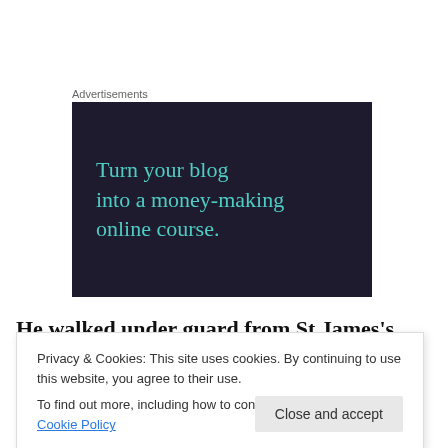Advertisements
[Figure (illustration): Dark navy advertisement banner with teal text reading 'Turn your blog into a money-making online course.']
He walked under guard from St James's Palace, where he had been confined, to the Palace of Whitehall
Privacy & Cookies: This site uses cookies. By continuing to use this website, you agree to their use.
To find out more, including how to control cookies, see here: Cookie Policy
He blamed his fate on his failure to prevent the